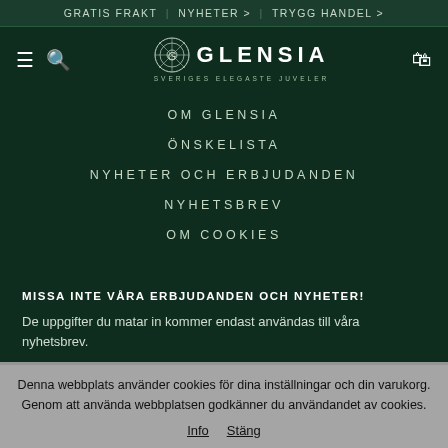GRATIS FRAKT | NYHETER > | TRYGG HANDEL >
[Figure (logo): Glensia jewellery logo with ornamental circle and brand name]
OM GLENSIA
ÖNSKELISTA
NYHETER OCH ERBJUDANDEN
NYHETSBREV
OM COOKIES
MISSA INTE VÅRA ERBJUDANDEN OCH NYHETER!
De uppgifter du matar in kommer endast användas till våra nyhetsbrev.
Denna webbplats använder cookies för dina inställningar och din varukorg. Genom att använda webbplatsen godkänner du användandet av cookies.
Info  Stäng